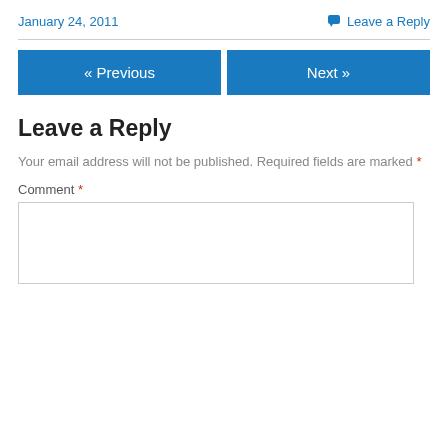January 24, 2011   Leave a Reply
« Previous   Next »
Leave a Reply
Your email address will not be published. Required fields are marked *
Comment *